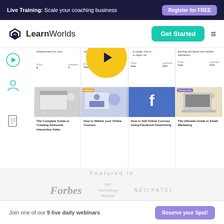Live Training: Scale your coaching business — Register for FREE
[Figure (screenshot): LearnWorlds website header with logo and Get Started button]
[Figure (screenshot): LearnWorlds course marketplace screenshot showing course cards: The Complete Guide to Creating Awesome Interactive Video, How to Market your Online Courses, How to Sell Online Courses Using Facebook, The Ultimate Guide to Email Marketing]
Featured in
[Figure (logo): Forbes logo]
[Figure (logo): MIT Technology Review logo]
[Figure (logo): Neil Patel logo]
Join one of our 9 live daily webinars
Reserve your Spot!